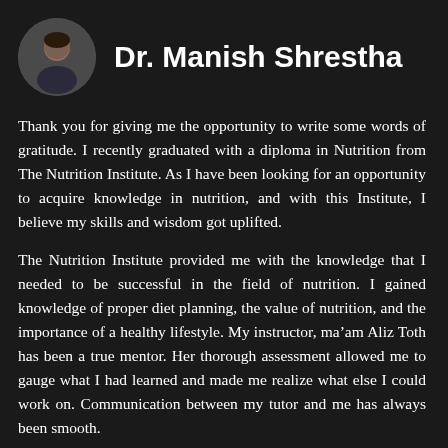[Figure (photo): Circular avatar photo of Dr. Manish Shrestha, a man in dark clothing]
Dr. Manish Shrestha
Thank you for giving me the opportunity to write some words of gratitude. I recently graduated with a diploma in Nutrition from The Nutrition Institute. As I have been looking for an opportunity to acquire knowledge in nutrition, and with this Institute, I believe my skills and wisdom got uplifted.
The Nutrition Institute provided me with the knowledge that I needed to be successful in the field of nutrition. I gained knowledge of proper diet planning, the value of nutrition, and the importance of a healthy lifestyle. My instructor, ma’am Aliz Toth has been a true mentor. Her thorough assessment allowed me to gauge what I had learned and made me realize what else I could work on. Communication between my tutor and me has always been smooth.
Being a radiologist, along with my additional